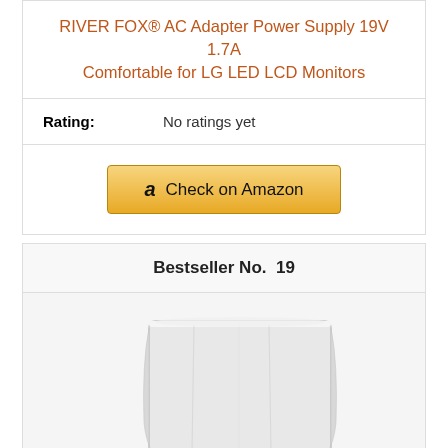RIVER FOX® AC Adapter Power Supply 19V 1.7A Comfortable for LG LED LCD Monitors
Rating: No ratings yet
[Figure (other): Check on Amazon button with Amazon logo]
Bestseller No. 19
[Figure (photo): Monitor with white protective dust cover on a black stand]
Dorca Best Protective Monitor Dust Cover for LG 27